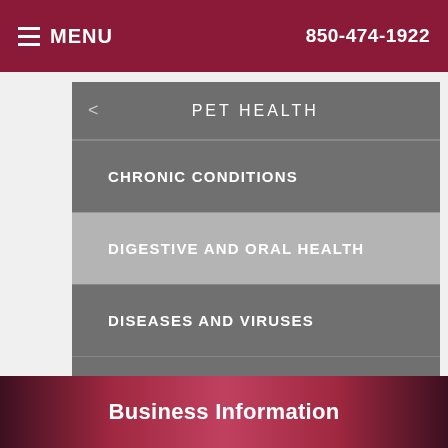MENU  850-474-1922
PET HEALTH
CHRONIC CONDITIONS
DIGESTIVE AND ORAL HEALTH
DISEASES AND VIRUSES
PESTS AND PARASITES
ORTHOPEDICS
Business Information